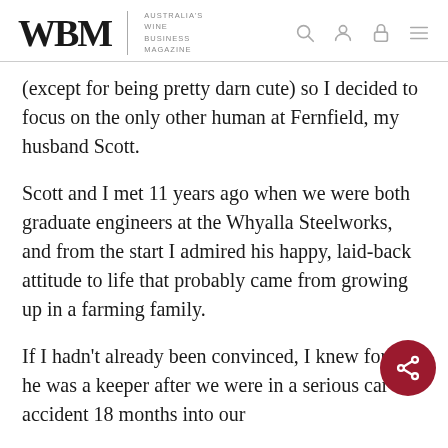WBM | AUSTRALIA'S WINE BUSINESS MAGAZINE
(except for being pretty darn cute) so I decided to focus on the only other human at Fernfield, my husband Scott.
Scott and I met 11 years ago when we were both graduate engineers at the Whyalla Steelworks, and from the start I admired his happy, laid-back attitude to life that probably came from growing up in a farming family.
If I hadn't already been convinced, I knew for sure he was a keeper after we were in a serious car accident 18 months into our